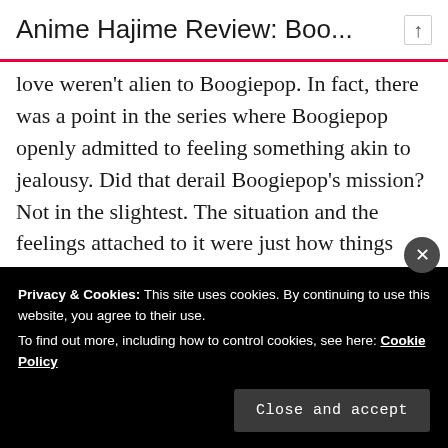Anime Hajime Review: Boo...
love weren't alien to Boogiepop. In fact, there was a point in the series where Boogiepop openly admitted to feeling something akin to jealousy. Did that derail Boogiepop's mission? Not in the slightest. The situation and the feelings attached to it were just how things were, and they didn't change what needed to get done.
Advertisements
Privacy & Cookies: This site uses cookies. By continuing to use this website, you agree to their use.
To find out more, including how to control cookies, see here: Cookie Policy
Close and accept